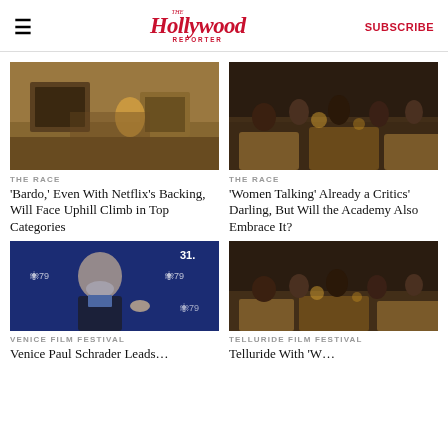The Hollywood Reporter | SUBSCRIBE
[Figure (photo): Scene from 'Bardo' film - dimly lit apartment interior with figure kneeling on a flooded floor]
THE RACE
Telluride Awards Analysis: 'Bardo,' Even With Netflix's Backing, Will Face Uphill Climb in Top Categories
[Figure (photo): Scene from 'Women Talking' - group of women in period clothing sitting in a barn by candlelight]
THE RACE
Telluride Awards Analysis: 'Women Talking' Already a Critics' Darling, But Will the Academy Also Embrace It?
[Figure (photo): Venice Film Festival - older man with white beard in black sweater at Venice 79 photocall]
VENICE FILM FESTIVAL
Venice Paul Schrader Leads...
[Figure (photo): Scene from 'Women Talking' at Telluride - group of women in a barn]
TELLURIDE FILM FESTIVAL
Telluride With 'W...